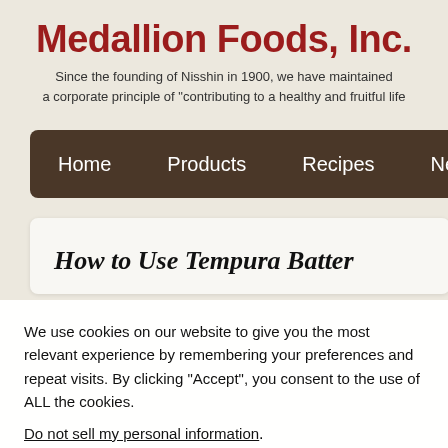Medallion Foods, Inc.
Since the founding of Nisshin in 1900, we have maintained a corporate principle of "contributing to a healthy and fruitful life
Home | Products | Recipes | News | A...
How to Use Tempura Batter
We use cookies on our website to give you the most relevant experience by remembering your preferences and repeat visits. By clicking “Accept”, you consent to the use of ALL the cookies.
Do not sell my personal information.
Cookie Settings | Accept | Reject All